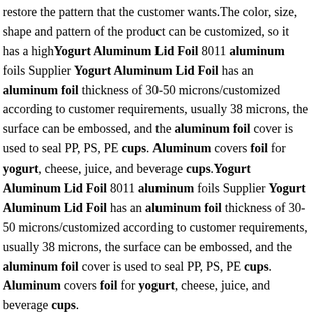restore the pattern that the customer wants.The color, size, shape and pattern of the product can be customized, so it has a high Yogurt Aluminum Lid Foil 8011 aluminum foils Supplier Yogurt Aluminum Lid Foil has an aluminum foil thickness of 30-50 microns/customized according to customer requirements, usually 38 microns, the surface can be embossed, and the aluminum foil cover is used to seal PP, PS, PE cups. Aluminum covers foil for yogurt, cheese, juice, and beverage cups.Yogurt Aluminum Lid Foil 8011 aluminum foils Supplier Yogurt Aluminum Lid Foil has an aluminum foil thickness of 30-50 microns/customized according to customer requirements, usually 38 microns, the surface can be embossed, and the aluminum foil cover is used to seal PP, PS, PE cups. Aluminum covers foil for yogurt, cheese, juice, and beverage cups. Yogurt Cup Aluminium Foil Lid, Bottle Caps, Closures, View Yogurt Cup Aluminium Foil Lid, Bottle Caps, Closures, US $ 6.15 - 6.4 / Kilogram, Aluminium-Plastic, Bottle Stopper, IN ROLL or in